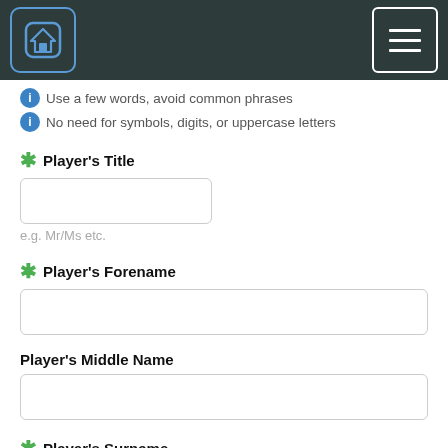Navigation bar with home icon and menu icon
Use a few words, avoid common phrases
No need for symbols, digits, or uppercase letters
* Player's Title
e.g. Mr/Ms etc.
* Player's Forename
Player's Middle Name
* Player's Surname